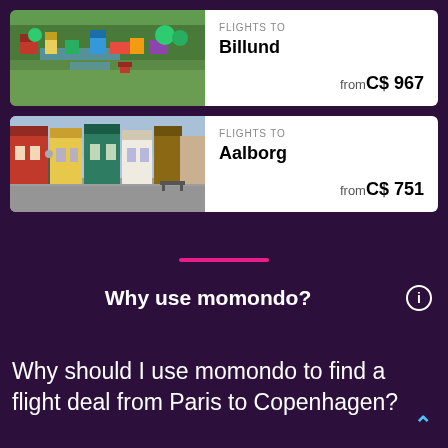[Figure (photo): Aerial view of LEGOLAND Billund with miniature models, waterways and greenery]
FLIGHTS TO
Billund
from C$ 967
[Figure (photo): Colorful historic street with traditional Danish houses in Aalborg]
FLIGHTS TO
Aalborg
from C$ 751
[Figure (other): Pink horizontal divider line]
Why use momondo?
Why should I use momondo to find a flight deal from Paris to Copenhagen?